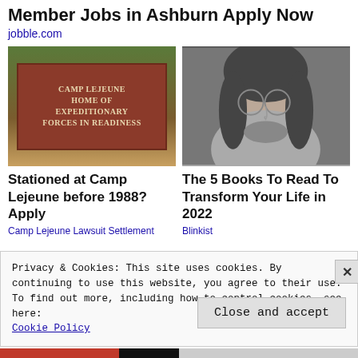Member Jobs in Ashburn Apply Now
jobble.com
[Figure (photo): Photo of Camp Lejeune entrance sign reading 'CAMP LEJEUNE HOME OF EXPEDITIONARY FORCES IN READINESS' with flowers and figures in front]
[Figure (photo): Black and white photo of a young man with long hair and round glasses]
Stationed at Camp Lejeune before 1988? Apply
Camp Lejeune Lawsuit Settlement
The 5 Books To Read To Transform Your Life in 2022
Blinkist
Privacy & Cookies: This site uses cookies. By continuing to use this website, you agree to their use.
To find out more, including how to control cookies, see here: Cookie Policy
Close and accept